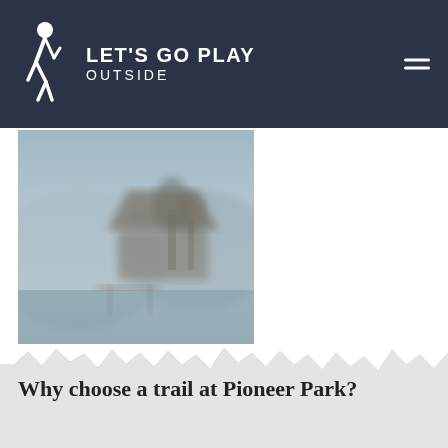LET'S GO PLAY OUTSIDE
[Figure (photo): Outdoor scene showing a misty lake or pond with wooden dock/structure and trees in the background, blurred/low-focus]
Why choose a trail at Pioneer Park?
Le Parc des Pionniers de la Lanaudière is located in Saint-Jacques-de-Leeds, in the heart of the Lanaudière tourist region. This beautiful park offers a host of activities for families and nature lovers.